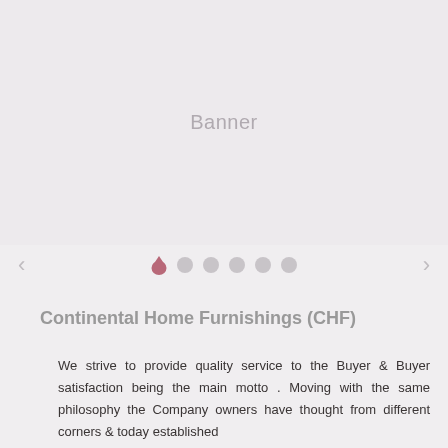[Figure (other): Banner placeholder area — large light gray rectangle with text 'Banner' centered]
[Figure (other): Carousel navigation controls with left arrow, one active dot (house/teardrop shape, pink/mauve), five inactive gray dots, and right arrow]
Continental Home Furnishings (CHF)
We strive to provide quality service to the Buyer & Buyer satisfaction being the main motto . Moving with the same philosophy the Company owners have thought from different corners & today established